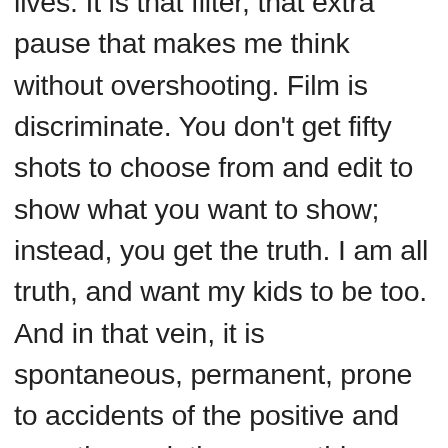lives. It is that filter, that extra pause that makes me think without overshooting. Film is discriminate. You don't get fifty shots to choose from and edit to show what you want to show; instead, you get the truth. I am all truth, and want my kids to be too. And in that vein, it is spontaneous, permanent, prone to accidents of the positive and negative varieties, something you can hold to weigh down time. Film means I don't have to sit at my computer, refining memories. It is beautiful, Velveteen Rabbit real, and so aptly – unplugged